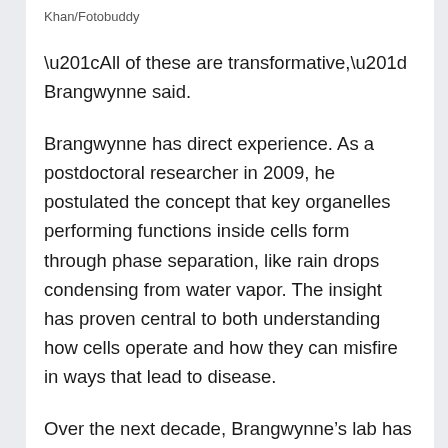Khan/Fotobuddy
“All of these are transformative,” Brangwynne said.
Brangwynne has direct experience. As a postdoctoral researcher in 2009, he postulated the concept that key organelles performing functions inside cells form through phase separation, like rain drops condensing from water vapor. The insight has proven central to both understanding how cells operate and how they can misfire in ways that lead to disease.
Over the next decade, Brangwynne’s lab has developed new techniques that allowed researchers to further explore his theory. Among them, harnessing light-sensitive proteins for triggering